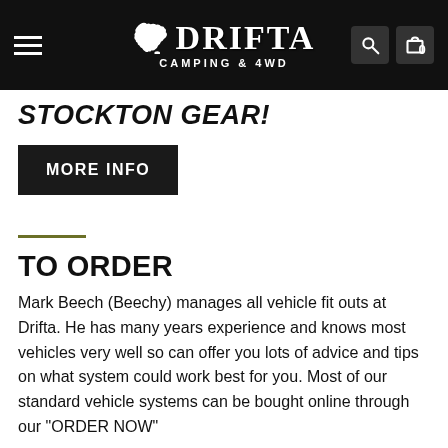Drifta Camping & 4WD — Navigation bar with logo, hamburger menu, search and cart icons
STOCKTON GEAR!
MORE INFO
TO ORDER
Mark Beech (Beechy) manages all vehicle fit outs at Drifta. He has many years experience and knows most vehicles very well so can offer you lots of advice and tips on what system could work best for you. Most of our standard vehicle systems can be bought online through our "ORDER NOW"